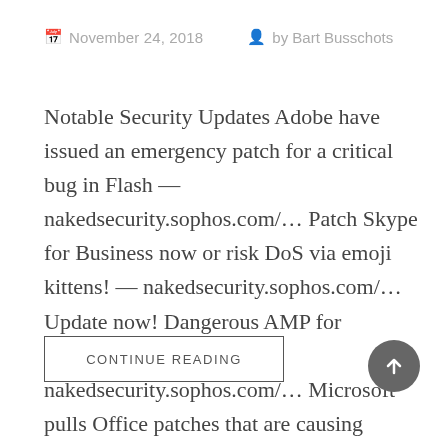November 24, 2018  by Bart Busschots
Notable Security Updates Adobe have issued an emergency patch for a critical bug in Flash — nakedsecurity.sophos.com/… Patch Skype for Business now or risk DoS via emoji kittens! — nakedsecurity.sophos.com/… Update now! Dangerous AMP for WordPress plugin fixed — nakedsecurity.sophos.com/… Microsoft pulls Office patches that are causing application crashes. Office365 users don't need to take […]
CONTINUE READING